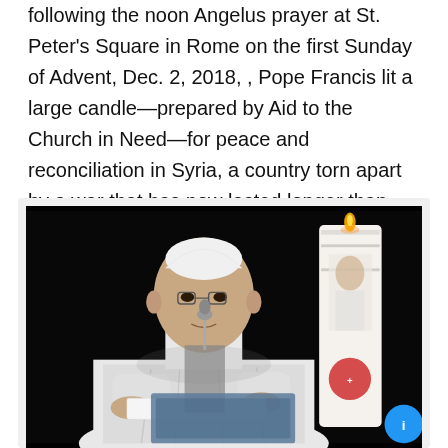following the noon Angelus prayer at St. Peter's Square in Rome on the first Sunday of Advent, Dec. 2, 2018, , Pope Francis lit a large candle—prepared by Aid to the Church in Need—for peace and reconciliation in Syria, a country torn apart by a war that has now lasted longer than World War II.
[Figure (photo): Pope Francis in white robes speaking at a podium with a microphone, next to a tall decorated candle, against a dark/black background.]